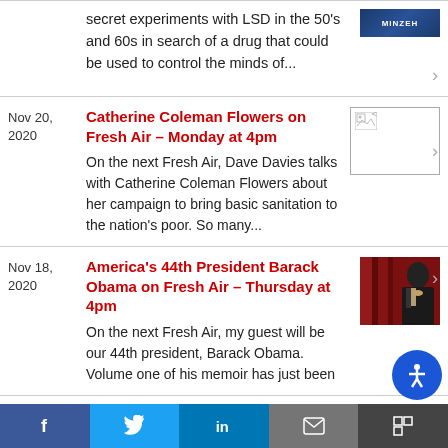secret experiments with LSD in the 50's and 60s in search of a drug that could be used to control the minds of...
Nov 20, 2020
Catherine Coleman Flowers on Fresh Air – Monday at 4pm
On the next Fresh Air, Dave Davies talks with Catherine Coleman Flowers about her campaign to bring basic sanitation to the nation's poor. So many...
Nov 18, 2020
America's 44th President Barack Obama on Fresh Air – Thursday at 4pm
On the next Fresh Air, my guest will be our 44th president, Barack Obama. Volume one of his memoir has just been